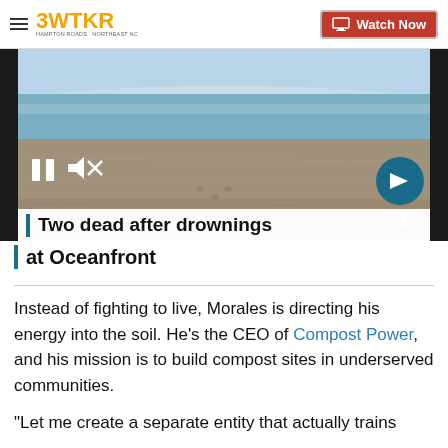3WTKR | Watch Now
[Figure (screenshot): Beach/ocean video player showing sandy beach and ocean waves with pause button, mute button, next arrow button, and channel 3 watermark]
Two dead after drownings at Oceanfront
Instead of fighting to live, Morales is directing his energy into the soil. He's the CEO of Compost Power, and his mission is to build compost sites in underserved communities.
"Let me create a separate entity that actually trains